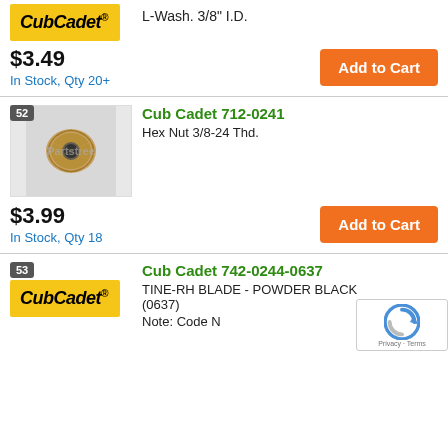[Figure (logo): Cub Cadet logo on yellow background]
L-Wash. 3/8" I.D.
$3.49
In Stock, Qty 20+
Add to Cart
52
[Figure (photo): Hex nut 3/8-24 Thd product photo on grey background with Partstree watermark]
Cub Cadet 712-0241
Hex Nut 3/8-24 Thd.
$3.99
In Stock, Qty 18
Add to Cart
53
[Figure (logo): Cub Cadet logo on yellow background]
Cub Cadet 742-0244-0637
TINE-RH BLADE - POWDER BLACK (0637)
Note: Code N
Variations